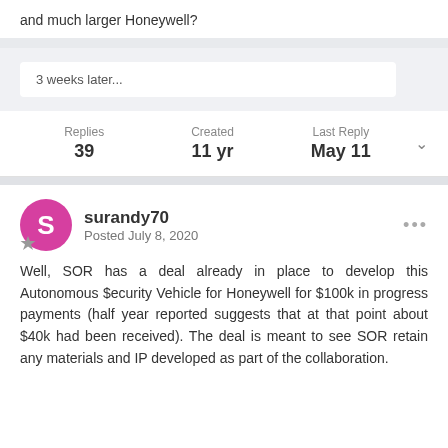and much larger Honeywell?
3 weeks later...
Replies 39 | Created 11 yr | Last Reply May 11
surandy70
Posted July 8, 2020
Well, SOR has a deal already in place to develop this Autonomous $ecurity Vehicle for Honeywell for $100k in progress payments (half year reported suggests that at that point about $40k had been received). The deal is meant to see SOR retain any materials and IP developed as part of the collaboration.